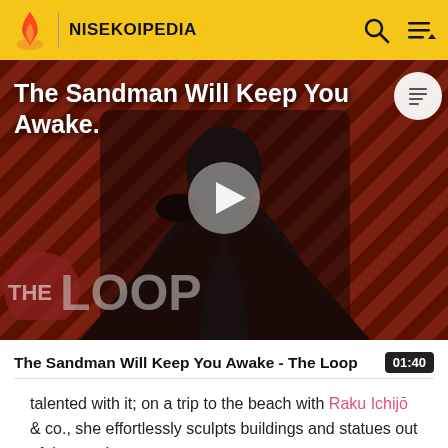NISEKOIPEDIA
[Figure (screenshot): Video thumbnail showing a dark figure in a black cape on a striped red/dark background with 'THE LOOP' text overlay and a play button in the center. Title text reads 'The Sandman Will Keep You Awake.' overlaid at top left.]
The Sandman Will Keep You Awake - The Loop
talented with it; on a trip to the beach with Raku Ichijō & co., she effortlessly sculpts buildings and statues out of the sand.